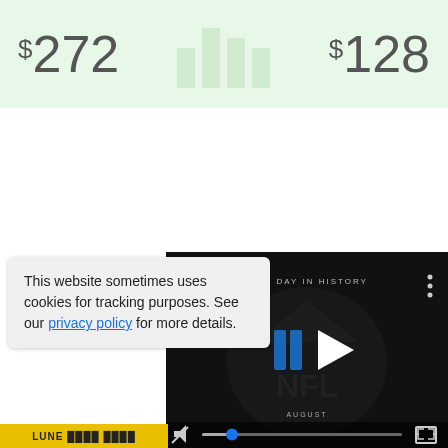[Figure (other): Green banner showing two price values: $272 on the left and $128 on the right, with a small bar chart icon in the center]
[Figure (screenshot): Video player panel showing 'THIS DAY IN HISTORY' with NFL logo, play button, AUGUST label, mute button, progress bar with blue dot, and fullscreen button]
This website sometimes uses cookies for tracking purposes. See our privacy policy for more details.